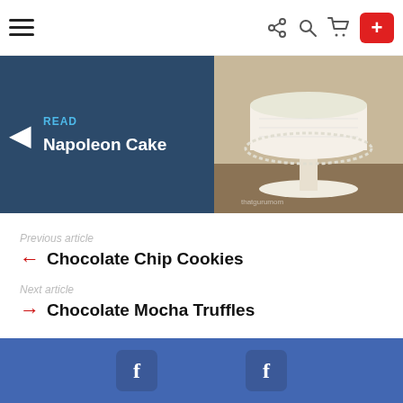Navigation bar with hamburger menu, share, search, cart icons and red plus button
[Figure (screenshot): Hero banner with dark blue background showing READ label, Napoleon Cake text with left arrow, and cake photo on right]
Previous article
← Chocolate Chip Cookies
Next article
→ Chocolate Mocha Truffles
You May Also Like —
[Figure (screenshot): Facebook social share bar with two Facebook icon buttons on blue background]